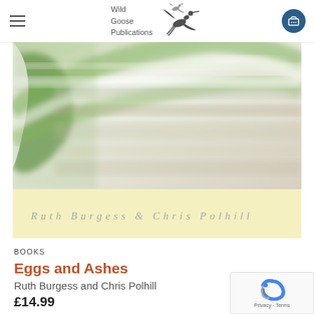Wild Goose Publications
[Figure (photo): Blurred close-up of plant leaves with green and white striations on a pale background, forming the top portion of a book cover. Bottom section is a pale yellow/cream band with author names 'Ruth Burgess & Chris Polhill' in spaced gray serif lettering.]
BOOKS
Eggs and Ashes
Ruth Burgess and Chris Polhill
£14.99